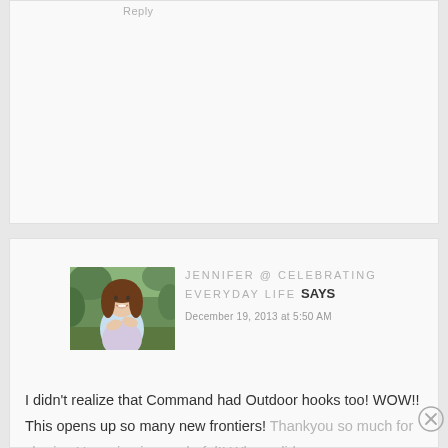Reply
[Figure (photo): Portrait photo of a smiling woman with long brown hair, wearing a floral dress, standing outdoors with green foliage in background]
JENNIFER @ CELEBRATING EVERYDAY LIFE SAYS
December 19, 2013 at 5:50 AM
I didn't realize that Command had Outdoor hooks too! WOW!! This opens up so many new frontiers! Thankyou so much for sharing Your sign is wonderful!! Where did